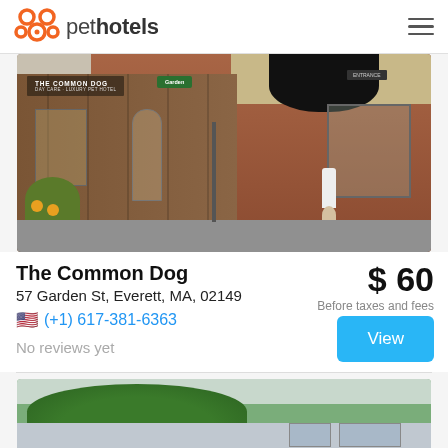pet hotels
[Figure (photo): Exterior photo of The Common Dog pet hotel building, a brick building with signage reading 'THE COMMON DOG' and a green garden sign, black awning, person standing outside]
The Common Dog
57 Garden St, Everett, MA, 02149
(+1) 617-381-6363
No reviews yet
$ 60
Before taxes and fees
[Figure (photo): Partial exterior photo of a second pet hotel listing, showing trees and a light-colored building facade]